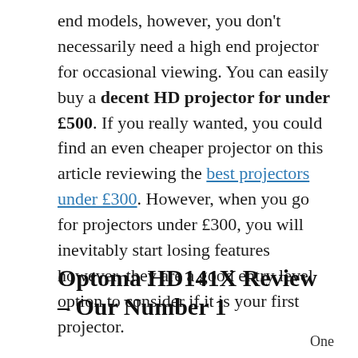end models, however, you don't necessarily need a high end projector for occasional viewing. You can easily buy a decent HD projector for under £500. If you really wanted, you could find an even cheaper projector on this article reviewing the best projectors under £300. However, when you go for projectors under £300, you will inevitably start losing features however, they are a good entry level option to consider if it is your first projector.
Optoma HD141X Review – Our Number 1
One